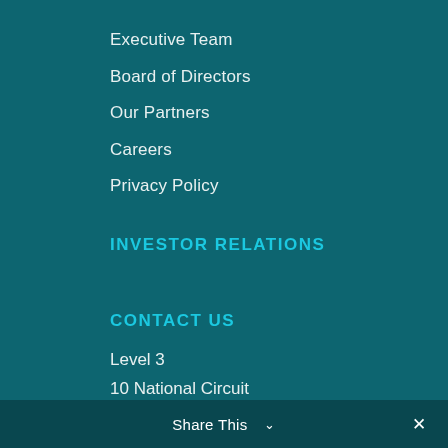Executive Team
Board of Directors
Our Partners
Careers
Privacy Policy
INVESTOR RELATIONS
CONTACT US
Level 3
10 National Circuit
Barton ACT 2600
Australia
info@archtis.com
+61 2 6273 9932
Share This ∨  ✕